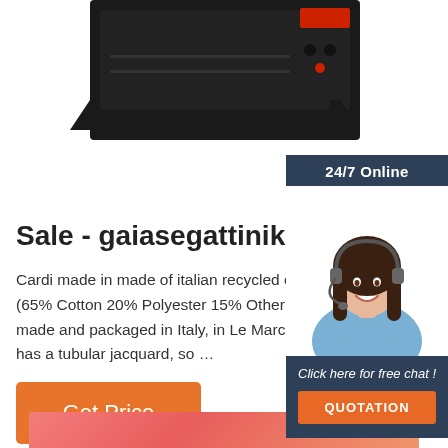[Figure (photo): Black electronic controller/box device with red buttons and mounting brackets, photographed on white background]
[Figure (photo): 24/7 Online chat widget with photo of smiling woman wearing headset, dark navy background, with 'Click here for free chat!' text and orange QUOTATION button]
Sale - gaiasegattiniknotwea
Cardi made in made of italian recycled cotto (65% Cotton 20% Polyester 15% Other fibe made and packaged in Italy, in Le Marche r has a tubular jacquard, so …
[Figure (illustration): Orange/pink gradient banner at bottom of page]